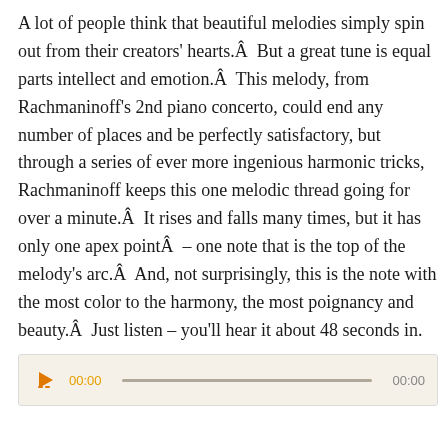A lot of people think that beautiful melodies simply spin out from their creators' hearts. Â  But a great tune is equal parts intellect and emotion. Â  This melody, from Rachmaninoff's 2nd piano concerto, could end any number of places and be perfectly satisfactory, but through a series of ever more ingenious harmonic tricks, Rachmaninoff keeps this one melodic thread going for over a minute. Â  It rises and falls many times, but it has only one apex point Â  – one note that is the top of the melody's arc. Â  And, not surprisingly, this is the note with the most color to the harmony, the most poignancy and beauty. Â  Just listen – you'll hear it about 48 seconds in.
[Figure (other): Audio player widget with play button, timestamp 00:00, progress bar, and end time 00:00]